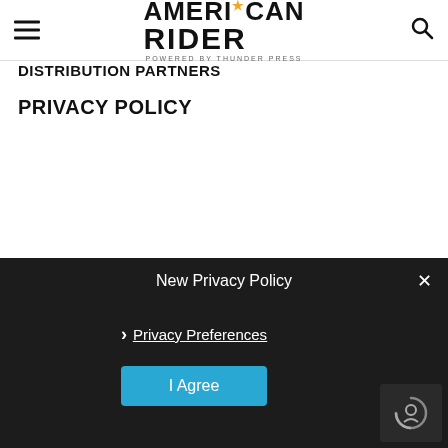American Rider - powered by Thunder Press
DISTRIBUTION PARTNERS
PRIVACY POLICY
New Privacy Policy
Privacy Preferences
I Agree